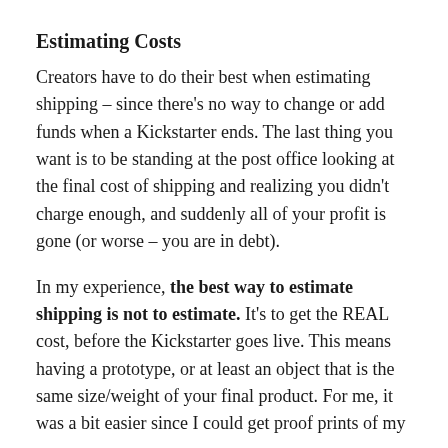Estimating Costs
Creators have to do their best when estimating shipping – since there's no way to change or add funds when a Kickstarter ends. The last thing you want is to be standing at the post office looking at the final cost of shipping and realizing you didn't charge enough, and suddenly all of your profit is gone (or worse – you are in debt).
In my experience, the best way to estimate shipping is not to estimate. It's to get the REAL cost, before the Kickstarter goes live. This means having a prototype, or at least an object that is the same size/weight of your final product. For me, it was a bit easier since I could get proof prints of my